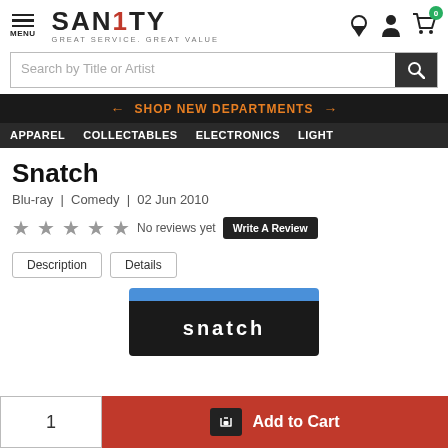SANITY - GREAT SERVICE. GREAT VALUE
Search by Title or Artist
← SHOP NEW DEPARTMENTS →
APPAREL | COLLECTABLES | ELECTRONICS | LIGHT
Snatch
Blu-ray | Comedy | 02 Jun 2010
★★★★★ No reviews yet  Write A Review
Description  Details
[Figure (photo): Snatch Blu-ray product cover — blue top with 'snatch' text on dark background]
1   Add to Cart